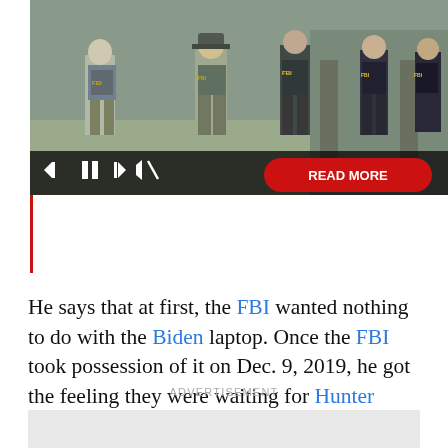[Figure (photo): FBI agents in tactical vests standing outside a building, with video player controls overlay (skip back, pause, skip forward, mute icons) and a red READ MORE button]
He says that at first, the FBI wanted nothing to do with the Biden laptop. Once the FBI took possession of it on Dec. 9, 2019, he got the feeling they were waiting for Hunter Biden to claim it.
ADVERTISEMENT